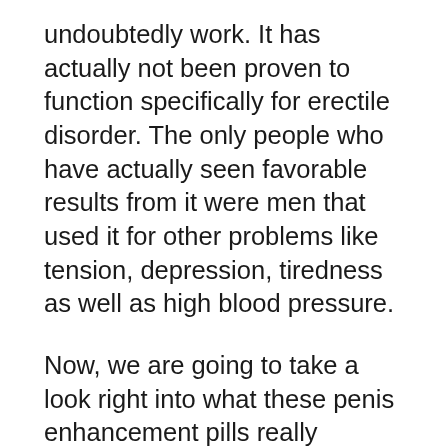undoubtedly work. It has actually not been proven to function specifically for erectile disorder. The only people who have actually seen favorable results from it were men that used it for other problems like tension, depression, tiredness as well as high blood pressure.
Now, we are going to take a look right into what these penis enhancement pills really include. You will discover that there are several active ingredients in it. There are more components than I can count. If you are like me though, you do not desire also much info just. So, let's consider what is in it as well as exactly how they can aid you. This write-up will likewise touch on Cock Pills as well as their effectiveness